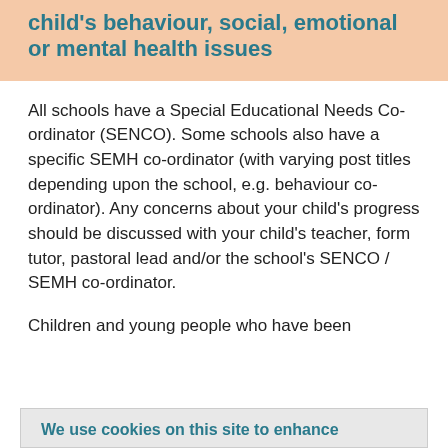child's behaviour, social, emotional or mental health issues
All schools have a Special Educational Needs Co-ordinator (SENCO). Some schools also have a specific SEMH co-ordinator (with varying post titles depending upon the school, e.g. behaviour co-ordinator). Any concerns about your child's progress should be discussed with your child's teacher, form tutor, pastoral lead and/or the school's SENCO / SEMH co-ordinator.
Children and young people who have been
We use cookies on this site to enhance